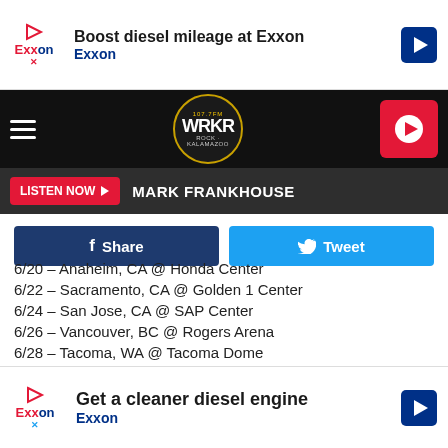[Figure (screenshot): Exxon top advertisement banner: 'Boost diesel mileage at Exxon']
[Figure (screenshot): WRKR radio station navigation bar with hamburger menu, WRKR logo, and red play button]
[Figure (screenshot): Listen Now button with MARK FRANKHOUSE DJ name on dark bar]
Share | Tweet buttons
6/20 – Anaheim, CA @ Honda Center
6/22 – Sacramento, CA @ Golden 1 Center
6/24 – San Jose, CA @ SAP Center
6/26 – Vancouver, BC @ Rogers Arena
6/28 – Tacoma, WA @ Tacoma Dome
6/29 – Portland, OR @ Moda Center
7/3 – Nashville, TN @ Bridgestone Arena
7/5 – A...
7/7 – T...
[Figure (screenshot): Exxon bottom advertisement banner: 'Get a cleaner diesel engine']